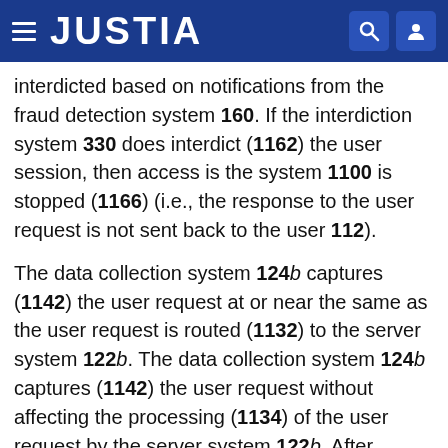JUSTIA
interdicted based on notifications from the fraud detection system 160. If the interdiction system 330 does interdict (1162) the user session, then access is the system 1100 is stopped (1166) (i.e., the response to the user request is not sent back to the user 112).
The data collection system 124b captures (1142) the user request at or near the same as the user request is routed (1132) to the server system 122b. The data collection system 124b captures (1142) the user request without affecting the processing (1134) of the user request by the server system 122b. After capturing (1142) the user request, the data collection system 124b sends (1144) the user request to the data bus 210. The unification engine 320 receives (1146) the user request from the data bus 210. The unification engine 320 unifies (1148) the user request to form the user session. The